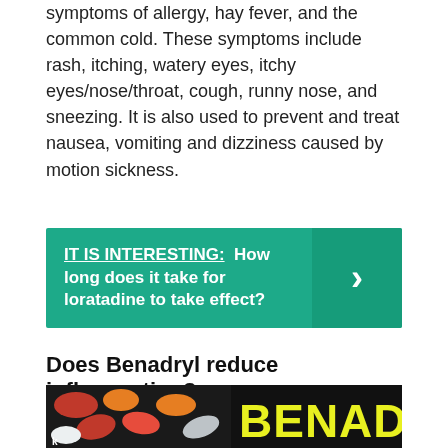symptoms of allergy, hay fever, and the common cold. These symptoms include rash, itching, watery eyes, itchy eyes/nose/throat, cough, runny nose, and sneezing. It is also used to prevent and treat nausea, vomiting and dizziness caused by motion sickness.
[Figure (infographic): Green banner with text 'IT IS INTERESTING: How long does it take for loratadine to take effect?' and a right-arrow chevron on the right side in a darker green box.]
Does Benadryl reduce inflammation?
A quick-acting allergy medication, such as diphenhydramine (Benadryl), can help reduce swelling and itching after an insect bite or sting. Drug allergies can also cause swollen lips.
[Figure (photo): Image showing colorful pills/capsules on the left and the word BENADRYL in large yellow letters on a black background on the right.]